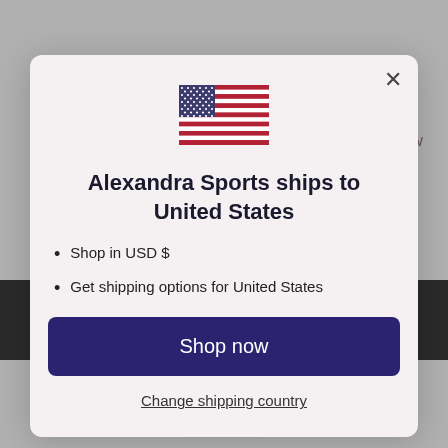[Figure (screenshot): Modal dialog overlay on a sports website. Background shows a grey page with partial product image at top and dark bar. A white/light modal contains a US flag, heading text, bullet points, a 'Shop now' button, and a 'Change shipping country' link. A 'Got it!' button appears at the very bottom.]
Alexandra Sports ships to United States
Shop in USD $
Get shipping options for United States
Shop now
Change shipping country